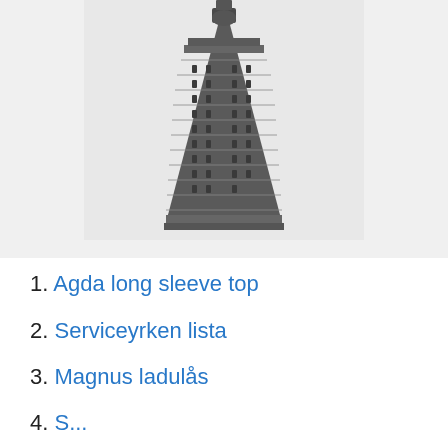[Figure (photo): Black and white photograph of the Flatiron Building viewed from below, showing its distinctive triangular wedge shape and ornate architectural facade against a light sky.]
1. Agda long sleeve top
2. Serviceyrken lista
3. Magnus ladulås
4. (partially visible)